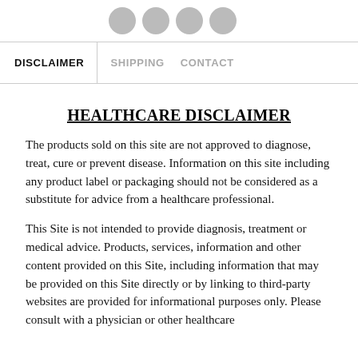[Figure (other): Four circular social media icons (grey) at the top of the page]
DISCLAIMER  SHIPPING  CONTACT
HEALTHCARE DISCLAIMER
The products sold on this site are not approved to diagnose, treat, cure or prevent disease. Information on this site including any product label or packaging should not be considered as a substitute for advice from a healthcare professional.
This Site is not intended to provide diagnosis, treatment or medical advice. Products, services, information and other content provided on this Site, including information that may be provided on this Site directly or by linking to third-party websites are provided for informational purposes only. Please consult with a physician or other healthcare